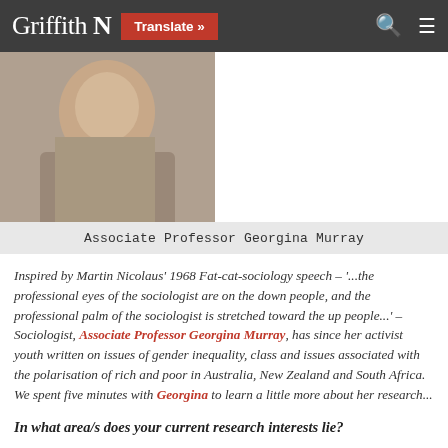Griffith N  Translate »
[Figure (photo): Photo of Associate Professor Georgina Murray, partial torso view in grey top]
Associate Professor Georgina Murray
Inspired by Martin Nicolaus' 1968 Fat-cat-sociology speech – '...the professional eyes of the sociologist are on the down people, and the professional palm of the sociologist is stretched toward the up people...' – Sociologist, Associate Professor Georgina Murray, has since her activist youth written on issues of gender inequality, class and issues associated with the polarisation of rich and poor in Australia, New Zealand and South Africa. We spent five minutes with Georgina to learn a little more about her research...
In what area/s does your current research interests lie?